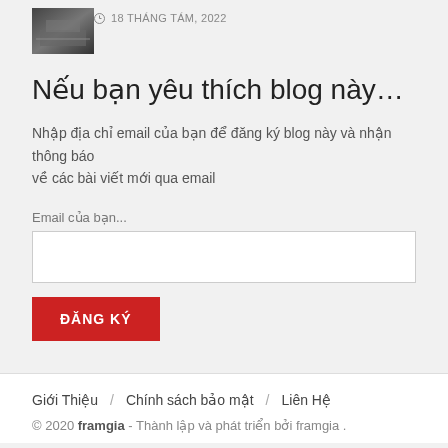[Figure (photo): Thumbnail image of a building/venue, dark toned]
18 THÁNG TÁM, 2022
Nếu bạn yêu thích blog này…
Nhập địa chỉ email của bạn để đăng ký blog này và nhận thông báo về các bài viết mới qua email
Email của bạn...
ĐĂNG KÝ
Giới Thiệu / Chính sách bảo mật / Liên Hệ
© 2020 framgia - Thành lập và phát triển bởi framgia .